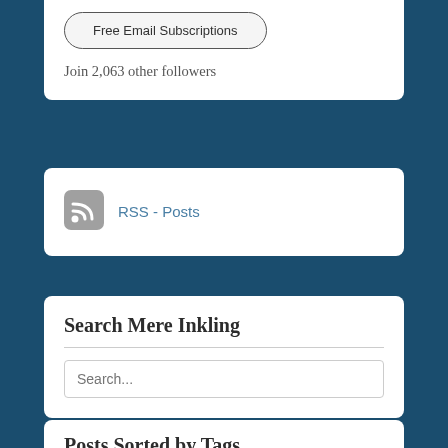Free Email Subscriptions
Join 2,063 other followers
[Figure (logo): RSS feed icon - rounded square with white RSS signal symbol on grey background]
RSS - Posts
Search Mere Inkling
Search...
Posts Sorted by Tags